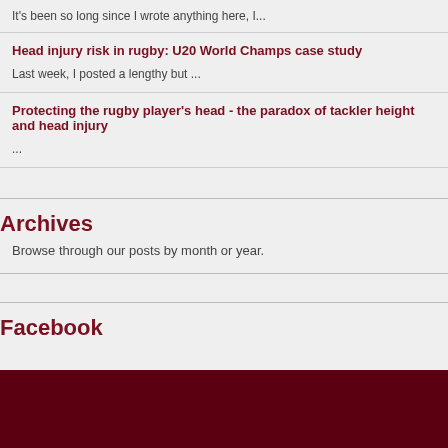It's been so long since I wrote anything here, I...
Head injury risk in rugby: U20 World Champs case study
Last week, I posted a lengthy but ...
Protecting the rugby player's head - the paradox of tackler height and head injury
...
Archives
Browse through our posts by month or year.
Facebook